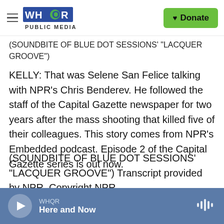WHQR PUBLIC MEDIA | Donate
(SOUNDBITE OF BLUE DOT SESSIONS' "LACQUER GROOVE")
KELLY: That was Selene San Felice talking with NPR's Chris Benderev. He followed the staff of the Capital Gazette newspaper for two years after the mass shooting that killed five of their colleagues. This story comes from NPR's Embedded podcast. Episode 2 of the Capital Gazette series is out now.
(SOUNDBITE OF BLUE DOT SESSIONS' "LACQUER GROOVE") Transcript provided by NPR, Copyright NPR.
WHQR | Here and Now